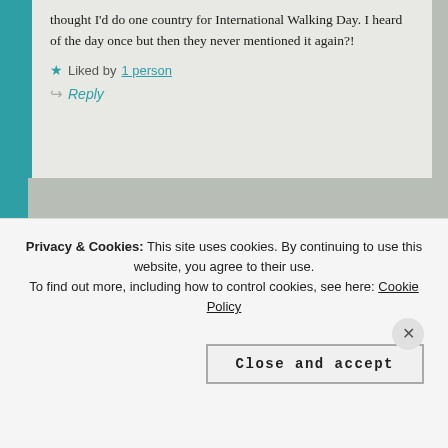thought I'd do one country for International Walking Day. I heard of the day once but then they never mentioned it again?!
★ Liked by 1 person
↪ Reply
ELIZA says:
Privacy & Cookies: This site uses cookies. By continuing to use this website, you agree to their use. To find out more, including how to control cookies, see here: Cookie Policy
Close and accept